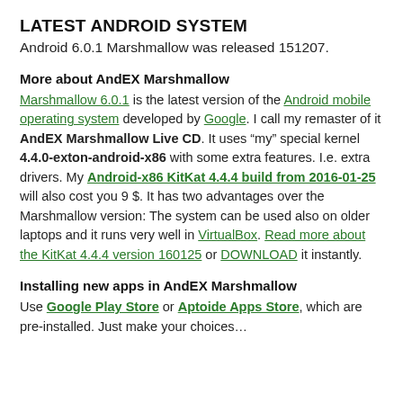LATEST ANDROID SYSTEM
Android 6.0.1 Marshmallow was released 151207.
More about AndEX Marshmallow
Marshmallow 6.0.1 is the latest version of the Android mobile operating system developed by Google. I call my remaster of it AndEX Marshmallow Live CD. It uses “my” special kernel 4.4.0-exton-android-x86 with some extra features. I.e. extra drivers. My Android-x86 KitKat 4.4.4 build from 2016-01-25 will also cost you 9 $. It has two advantages over the Marshmallow version: The system can be used also on older laptops and it runs very well in VirtualBox. Read more about the KitKat 4.4.4 version 160125 or DOWNLOAD it instantly.
Installing new apps in AndEX Marshmallow
Use Google Play Store or Aptoide Apps Store, which are pre-installed. Just make your choices...